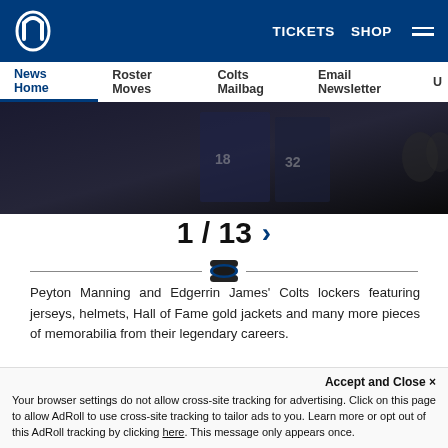Indianapolis Colts logo | TICKETS | SHOP | Menu
News Home | Roster Moves | Colts Mailbag | Email Newsletter | U
[Figure (photo): Dark image of Peyton Manning and Edgerrin James' Colts lockers with jerseys, helmets, Hall of Fame gold jackets and memorabilia]
1 / 13 >
Peyton Manning and Edgerrin James' Colts lockers featuring jerseys, helmets, Hall of Fame gold jackets and many more pieces of memorabilia from their legendary careers.
Related Content
[Figure (photo): Colts Mailbag thumbnail with brownish background]
[Figure (photo): Blue thumbnail image]
Accept and Close ✕
Your browser settings do not allow cross-site tracking for advertising. Click on this page to allow AdRoll to use cross-site tracking to tailor ads to you. Learn more or opt out of this AdRoll tracking by clicking here. This message only appears once.